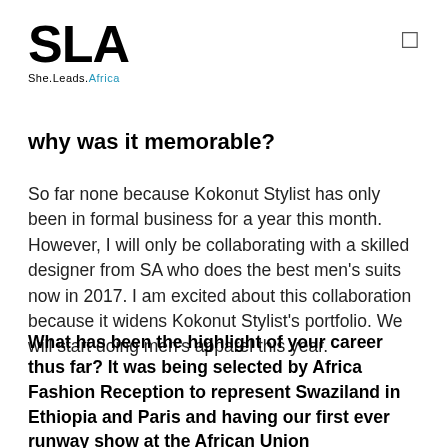SLA She.Leads.Africa
why was it memorable?
So far none because Kokonut Stylist has only been in formal business for a year this month. However, I will only be collaborating with a skilled designer from SA who does the best men’s suits now in 2017. I am excited about this collaboration because it widens Kokonut Stylist’s portfolio. We will start doing men’s apparel this year.
What has been the highlight of your career thus far? It was being selected by Africa Fashion Reception to represent Swaziland in Ethiopia and Paris and having our first ever runway show at the African Union headquarters in Addis Ababa.